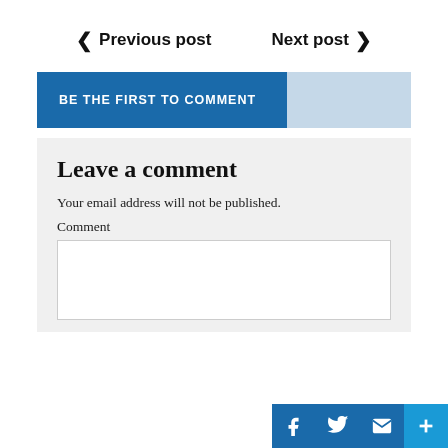< Previous post   Next post >
BE THE FIRST TO COMMENT
Leave a comment
Your email address will not be published.
Comment